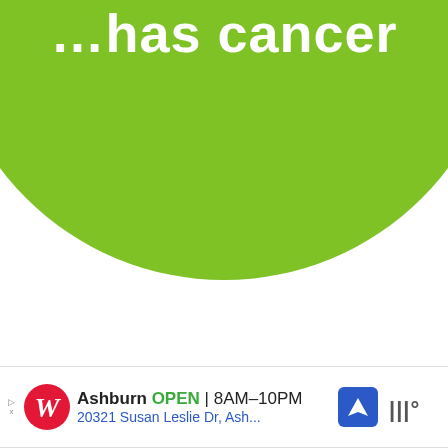[Figure (illustration): A large light green circle partially visible, cropped at top of page, with white bold text reading '...has cancer' visible at the top]
[Figure (screenshot): A mobile app interface showing social interaction buttons: a teal circular heart/like button, a count of 1.1K, and a share button with plus icon, plus a vertical scrollbar]
[Figure (screenshot): A 'WHAT'S NEXT' card thumbnail showing S'Mores Cookies with a food photo]
[Figure (screenshot): Walgreens advertisement banner showing Ashburn store, OPEN 8AM-10PM, 20321 Susan Leslie Dr, Ash...]